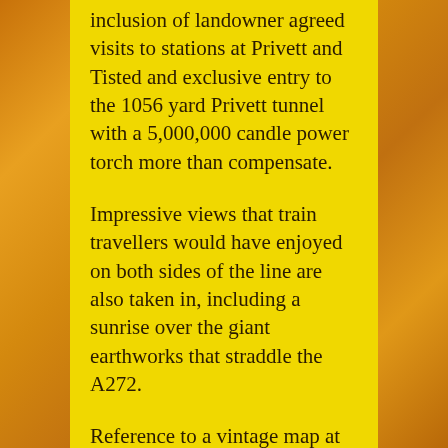inclusion of landowner agreed visits to stations at Privett and Tisted and exclusive entry to the 1056 yard Privett tunnel with a 5,000,000 candle power torch more than compensate.
Impressive views that train travellers would have enjoyed on both sides of the line are also taken in, including a sunrise over the giant earthworks that straddle the A272.
Reference to a vintage map at the end of the film shows the course of the line in relation to the film.